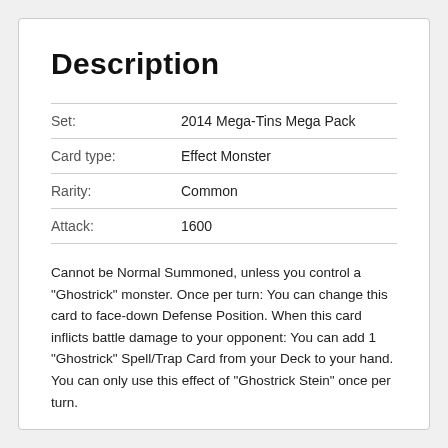Description
| Field | Value |
| --- | --- |
| Set: | 2014 Mega-Tins Mega Pack |
| Card type: | Effect Monster |
| Rarity: | Common |
| Attack: | 1600 |
Cannot be Normal Summoned, unless you control a "Ghostrick" monster. Once per turn: You can change this card to face-down Defense Position. When this card inflicts battle damage to your opponent: You can add 1 "Ghostrick" Spell/Trap Card from your Deck to your hand. You can only use this effect of "Ghostrick Stein" once per turn.